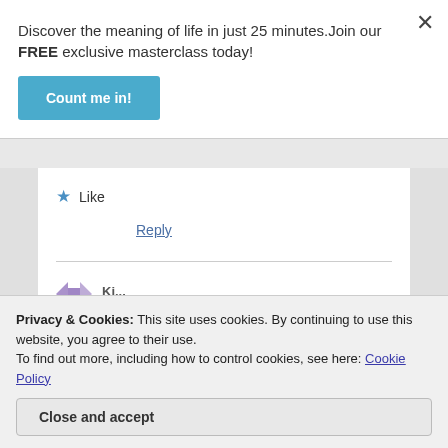Discover the meaning of life in just 25 minutes.Join our FREE exclusive masterclass today!
Count me in!
★ Like
Reply
Privacy & Cookies: This site uses cookies. By continuing to use this website, you agree to their use.
To find out more, including how to control cookies, see here: Cookie Policy
Close and accept
not wasting money and time, but to enjoy